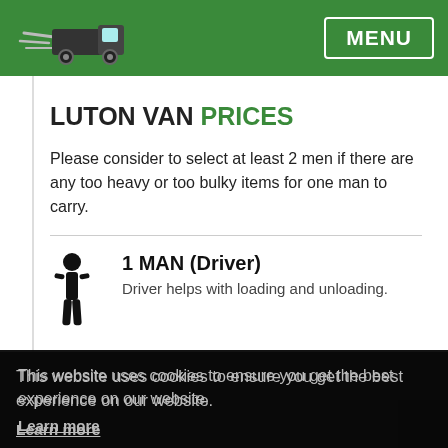MENU
LUTON VAN PRICES
Please consider to select at least 2 men if there are any too heavy or too bulky items for one man to carry.
1 MAN (Driver)
Driver helps with loading and unloading.
This website uses cookies to ensure you get the best experience on our website.
Learn more
Got it!